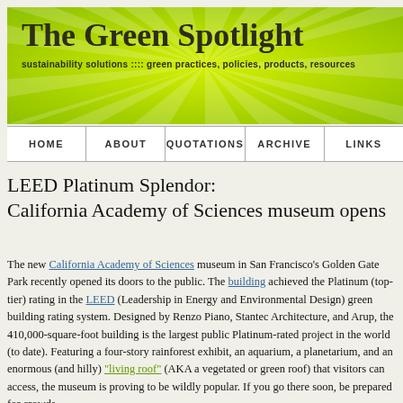[Figure (illustration): Green banner header with radial ray pattern background in lime green. Contains site title 'The Green Spotlight' in bold dark serif font and tagline 'sustainability solutions :::: green practices, policies, products, resources'.]
HOME | ABOUT | QUOTATIONS | ARCHIVE | LINKS
LEED Platinum Splendor:
California Academy of Sciences museum opens
The new California Academy of Sciences museum in San Francisco's Golden Gate Park recently opened its doors to the public. The building achieved the Platinum (top-tier) rating in the LEED (Leadership in Energy and Environmental Design) green building rating system. Designed by Renzo Piano, Stantec Architecture, and Arup, the 410,000-square-foot building is the largest public Platinum-rated project in the world (to date). Featuring a four-story rainforest exhibit, an aquarium, a planetarium, and an enormous (and hilly) "living roof" (AKA a vegetated or green roof) that visitors can access, the museum is proving to be wildly popular. If you go there soon, be prepared for crowds.